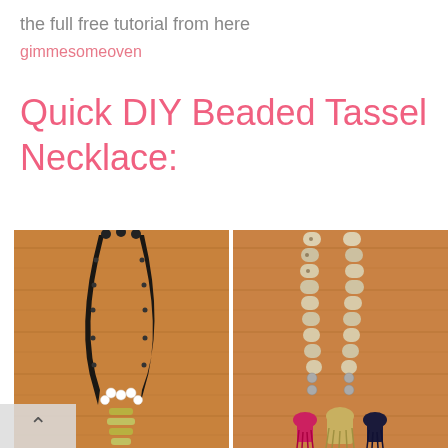the full free tutorial from here
gimmesomeoven
Quick DIY Beaded Tassel Necklace:
[Figure (photo): Two DIY beaded tassel necklaces laid on a wooden surface. Left: a black beaded necklace with white beads and gold/silver beads near the bottom. Right: a leopard-print fabric/beaded necklace with three tassels (pink, tan/gold, and dark navy) at the bottom.]